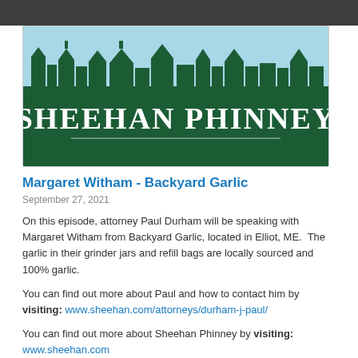Follow
[Figure (logo): Sheehan Phinney law firm logo — dark green background with light blue silhouette of buildings/rooftops at top, white serif text 'SHEEHAN PHINNEY' centered, thin white horizontal rule below text]
Margaret Witham - Backyard Garlic
September 27, 2021
On this episode, attorney Paul Durham will be speaking with Margaret Witham from Backyard Garlic, located in Elliot, ME.  The garlic in their grinder jars and refill bags are locally sourced and 100% garlic.
You can find out more about Paul and how to contact him by visiting: www.sheehan.com/attorneys/durham-j-paul/
You can find out more about Sheehan Phinney by visiting: www.sheehan.com